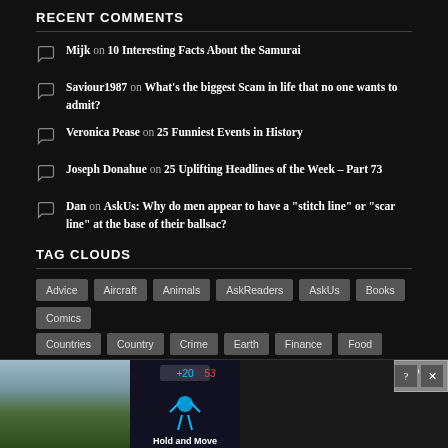RECENT COMMENTS
Mijk on 10 Interesting Facts About the Samurai
Saviour1987 on What's the biggest Scam in life that no one wants to admit?
Veronica Pease on 25 Funniest Events in History
Joseph Donahue on 25 Uplifting Headlines of the Week – Part 73
Dan on AskUs: Why do men appear to have a "stitch line" or "scar line" at the base of their ballsac?
TAG CLOUDS
Advice
Aircraft
Animals
AskReaders
AskUs
Books
Comics
Countries
Country
Crime
Earth
Finance
Food
Harry Potter
Health
[Figure (screenshot): Advertisement overlay at bottom of page showing a game ad with Close X button, trees/nature thumbnail on left, and game screenshot on right with Hold and Move text]